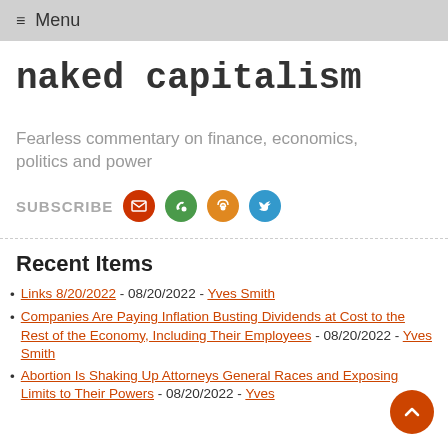≡ Menu
naked capitalism
Fearless commentary on finance, economics, politics and power
SUBSCRIBE
Recent Items
Links 8/20/2022 - 08/20/2022 - Yves Smith
Companies Are Paying Inflation Busting Dividends at Cost to the Rest of the Economy, Including Their Employees - 08/20/2022 - Yves Smith
Abortion Is Shaking Up Attorneys General Races and Exposing Limits to Their Powers - 08/20/2022 - Yves